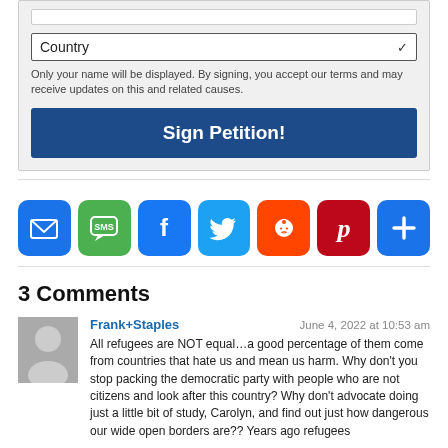Country (dropdown)
Only your name will be displayed. By signing, you accept our terms and may receive updates on this and related causes.
Sign Petition!
[Figure (infographic): Row of seven social sharing icons: Email (blue envelope), SMS (green speech bubble), Facebook (blue f), Twitter (light blue bird), Reddit (orange alien), Pinterest (red P), and More (blue plus sign)]
3 Comments
Frank+Staples
June 4, 2022 at 10:53 am
All refugees are NOT equal…a good percentage of them come from countries that hate us and mean us harm. Why don't you stop packing the democratic party with people who are not citizens and look after this country? Why don't advocate doing just a little bit of study, Carolyn, and find out just how dangerous our wide open borders are?? Years ago refugees